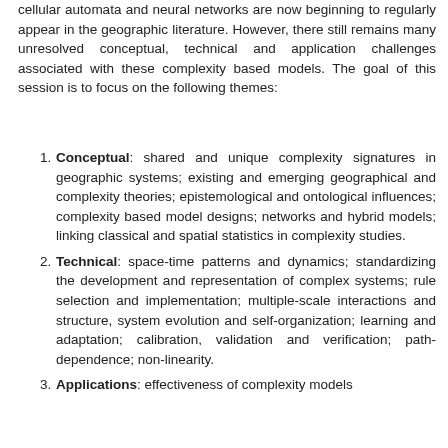cellular automata and neural networks are now beginning to regularly appear in the geographic literature. However, there still remains many unresolved conceptual, technical and application challenges associated with these complexity based models. The goal of this session is to focus on the following themes:
Conceptual: shared and unique complexity signatures in geographic systems; existing and emerging geographical and complexity theories; epistemological and ontological influences; complexity based model designs; networks and hybrid models; linking classical and spatial statistics in complexity studies.
Technical: space-time patterns and dynamics; standardizing the development and representation of complex systems; rule selection and implementation; multiple-scale interactions and structure, system evolution and self-organization; learning and adaptation; calibration, validation and verification; path-dependence; non-linearity.
Applications: effectiveness of complexity models